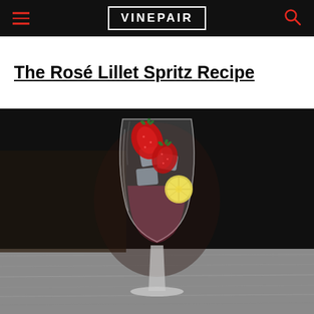VINEPAIR
The Rosé Lillet Spritz Recipe
[Figure (photo): A wine glass filled with a rosé cocktail, garnished with strawberries and a lemon slice, with ice, on a wooden table against a dark background.]